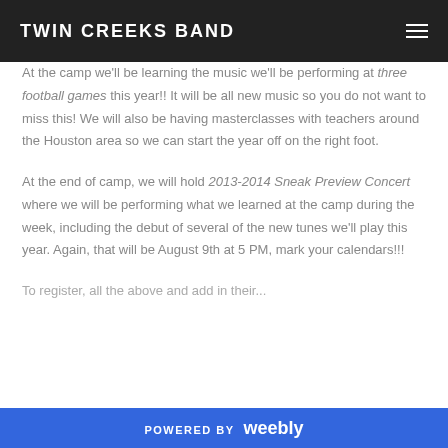TWIN CREEKS BAND
At the camp we'll be learning the music we'll be performing at three football games this year!! It will be all new music so you do not want to miss this! We will also be having masterclasses with teachers around the Houston area so we can start the year off on the right foot.
At the end of camp, we will hold 2013-2014 Sneak Preview Concert where we will be performing what we learned at the camp during the week, including the debut of several of the new tunes we'll play this year. Again, that will be August 9th at 5 PM, mark your calendars!!!
POWERED BY weebly